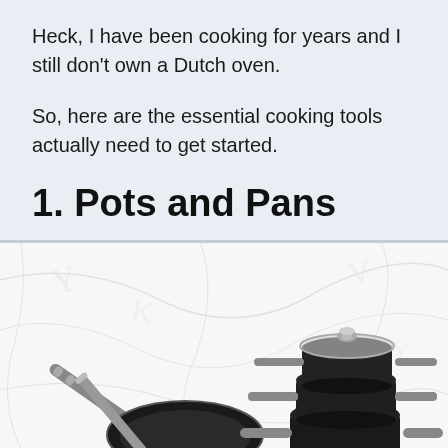Heck, I have been cooking for years and I still don't own a Dutch oven.
So, here are the essential cooking tools actually need to get started.
1. Pots and Pans
[Figure (photo): Black non-stick cookware set including a frying pan and stacked saucepots with lids and metal handles, displayed against a white marble-patterned background.]